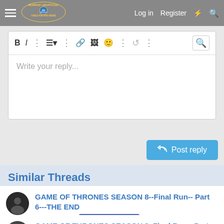Morrus' Unofficial Tabletop RPG News | Log in | Register
[Figure (screenshot): Forum text editor toolbar with bold, italic, list, link, image, emoji, undo buttons and a 'Write your reply...' placeholder text area]
Post reply
Similar Threads
GAME OF THRONES SEASON 8--Final Run-- Part 6---THE END
Truth Seeker · *Geek Talk & Media
Replies: 110 · May 26, 2019
GAME OF THRONES SEASON 8, Final Run-- Part